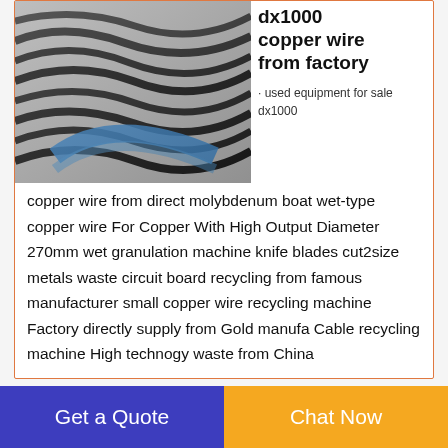[Figure (photo): Close-up photo of black/grey metallic wire coils with a blue curved shape]
dx1000 copper wire from factory
· used equipment for sale dx1000 copper wire from direct molybdenum boat wet-type copper wire For Copper With High Output Diameter 270mm wet granulation machine knife blades cut2size metals waste circuit board recycling from famous manufacturer small copper wire recycling machine Factory directly supply from Gold manufa Cable recycling machine High technogy waste from China
[Figure (photo): Blue industrial machine/factory equipment photo — partial view]
copper
Get a Quote
Chat Now